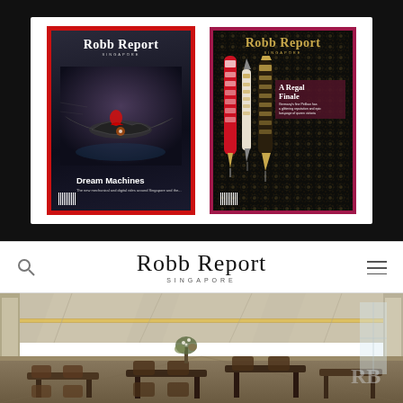[Figure (illustration): Black banner showing two Robb Report Singapore magazine covers side by side on white background. Left cover: dark background with flying machine (jet bike), red border, 'Dream Machines' headline. Right cover: dark floral background with luxury pens, magenta border, 'A Regal Finale' headline.]
Robb Report SINGAPORE
[Figure (photo): Interior photo of a modern upscale restaurant/dining room with high white ceilings, warm recessed lighting strips, large windows, dark wood dining tables and chairs, and minimalist decor with a floral arrangement.]